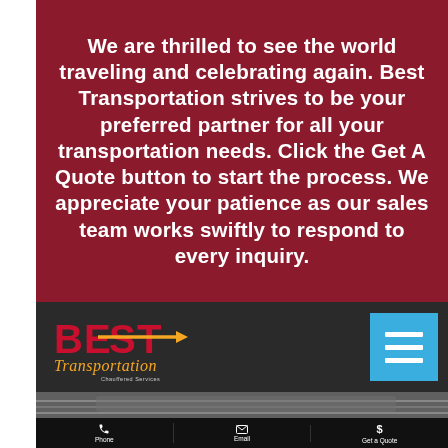We are thrilled to see the world traveling and celebrating again. Best Transportation strives to be your preferred partner for all your transportation needs. Click the Get A Quote button to start the process. We appreciate your patience as our sales team works swiftly to respond to every inquiry.
[Figure (logo): Best Transportation Chauffered Services logo with stylized 'BEST' text in red/gold and cursive 'Transportation' script in gold, with menu hamburger button in blue]
[Figure (photo): Partial view of a vehicle or transportation scene at bottom of navigation area]
Phone | Email | Get a Quote